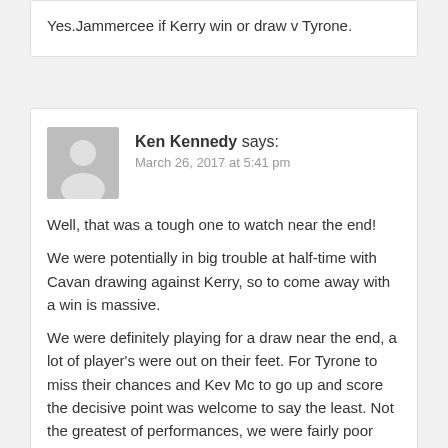Yes.Jammercee if Kerry win or draw v Tyrone.
[Figure (illustration): Grey avatar/placeholder silhouette icon for user Ken Kennedy]
Ken Kennedy says:
March 26, 2017 at 5:41 pm
Well, that was a tough one to watch near the end!
We were potentially in big trouble at half-time with Cavan drawing against Kerry, so to come away with a win is massive.
We were definitely playing for a draw near the end, a lot of player's were out on their feet. For Tyrone to miss their chances and Kev Mc to go up and score the decisive point was welcome to say the least. Not the greatest of performances, we were fairly poor going forward in the second. A lot of sloppy turnovers again but we were solid enough when it counted. Clarke had another big game, Parsons and Cillian turned up when it mattered too.
With the likes of Doherty, Barrett, Diarmuid and Aidan making